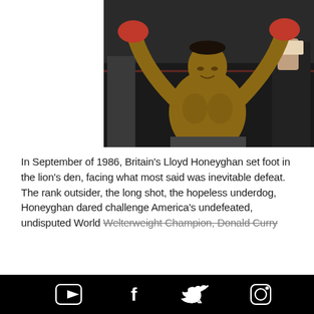[Figure (photo): Lloyd Honeyghan with arms raised in victory pose, wearing red boxing gloves, shirtless, in a boxing ring with audience in the background]
In September of 1986, Britain's Lloyd Honeyghan set foot in the lion's den, facing what most said was inevitable defeat. The rank outsider, the long shot, the hopeless underdog, Honeyghan dared challenge America's undefeated, undisputed World Welterweight Champion, Donald Curry
[Figure (other): Social media icons footer bar (YouTube, Facebook, Twitter, Instagram) on black background]